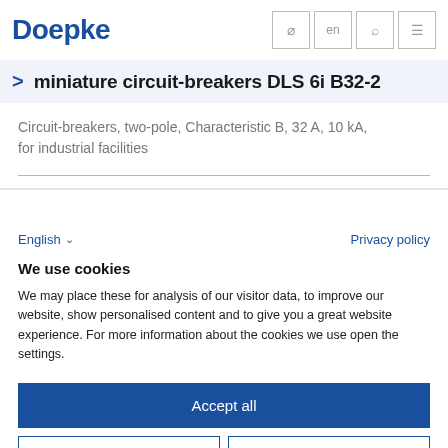Doepke
miniature circuit-breakers DLS 6i B32-2
Circuit-breakers, two-pole, Characteristic B, 32 A, 10 kA, for industrial facilities
English
Privacy policy
We use cookies
We may place these for analysis of our visitor data, to improve our website, show personalised content and to give you a great website experience. For more information about the cookies we use open the settings.
Accept all
Deny
No, adjust